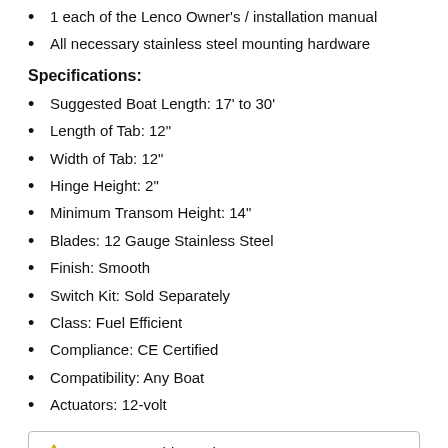1 each of the Lenco Owner's / installation manual
All necessary stainless steel mounting hardware
Specifications:
Suggested Boat Length: 17' to 30'
Length of Tab: 12"
Width of Tab: 12"
Hinge Height: 2"
Minimum Transom Height: 14"
Blades: 12 Gauge Stainless Steel
Finish: Smooth
Switch Kit: Sold Separately
Class: Fuel Efficient
Compliance: CE Certified
Compatibility: Any Boat
Actuators: 12-volt
WARNING: This product can expose you to chemicals including di(2-ethylhexyl)phthalate (dehp) which is known to the State of California to cause cancer, birth defects or other reproductive harm. For